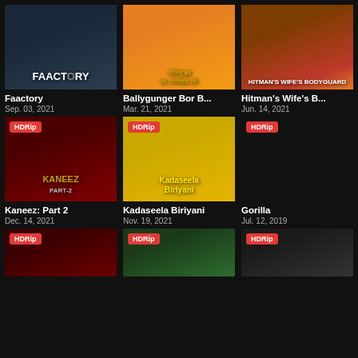[Figure (photo): Movie poster grid showing 6 movie cards plus partial bottom row. Movies shown: Faactory, Ballygunger Bor B..., Hitman's Wife's B..., Kaneez: Part 2, Kadaseela Biriyani, Gorilla. Bottom row partially visible with 3 HDRip badges.]
Faactory
Sep. 03, 2021
Ballygunger Bor B...
Mar. 21, 2021
Hitman's Wife's B...
Jun. 14, 2021
Kaneez: Part 2
Dec. 14, 2021
Kadaseela Biriyani
Nov. 19, 2021
Gorilla
Jul. 12, 2019